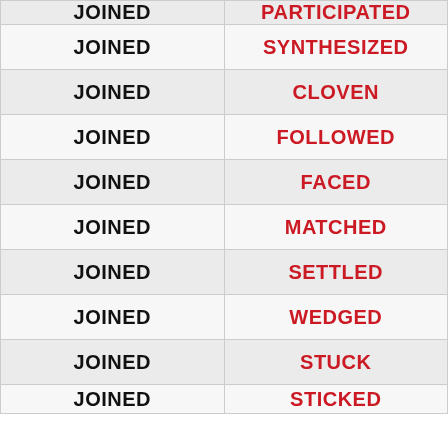| JOINED | PARTICIPATED |
| --- | --- |
| JOINED | SYNTHESIZED |
| JOINED | CLOVEN |
| JOINED | FOLLOWED |
| JOINED | FACED |
| JOINED | MATCHED |
| JOINED | SETTLED |
| JOINED | WEDGED |
| JOINED | STUCK |
| JOINED | STICKED |